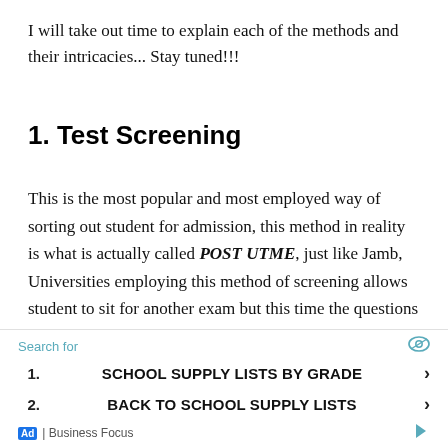I will take out time to explain each of the methods and their intricacies... Stay tuned!!!
1. Test Screening
This is the most popular and most employed way of sorting out student for admission, this method in reality is what is actually called POST UTME, just like Jamb, Universities employing this method of screening allows student to sit for another exam but this time the questions are prepared by the school
1. SCHOOL SUPPLY LISTS BY GRADE
2. BACK TO SCHOOL SUPPLY LISTS
Ad | Business Focus